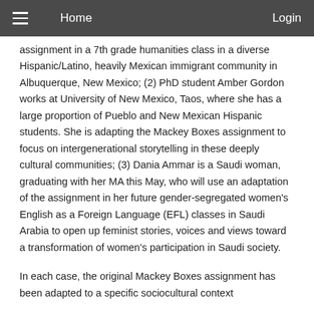≡   Home   Login
assignment in a 7th grade humanities class in a diverse Hispanic/Latino, heavily Mexican immigrant community in Albuquerque, New Mexico; (2) PhD student Amber Gordon works at University of New Mexico, Taos, where she has a large proportion of Pueblo and New Mexican Hispanic students. She is adapting the Mackey Boxes assignment to focus on intergenerational storytelling in these deeply cultural communities; (3) Dania Ammar is a Saudi woman, graduating with her MA this May, who will use an adaptation of the assignment in her future gender-segregated women's English as a Foreign Language (EFL) classes in Saudi Arabia to open up feminist stories, voices and views toward a transformation of women's participation in Saudi society.
In each case, the original Mackey Boxes assignment has been adapted to a specific sociocultural context